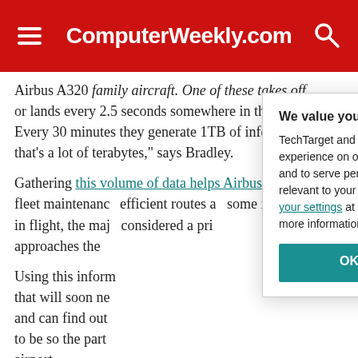ComputerWeekly.com
Airbus A320 family aircraft. One of these takes off or lands every 2.5 seconds somewhere in the world. Every 30 minutes they generate 1TB of information – that's a lot of terabytes," says Bradley.
Gathering this volume of data helps Airbus manage fleet maintenance, and some text continues... efficient routes and some information in flight, the major considered a priority approaches the...
Using this information that will soon need and can find out to be so the part airport.
We value your privacy.
TechTarget and its partners employ cookies to improve your experience on our site, to analyze traffic and performance, and to serve personalized content and advertising that are relevant to your professional interests. You can manage your settings at any time. Please view our Privacy Policy for more information